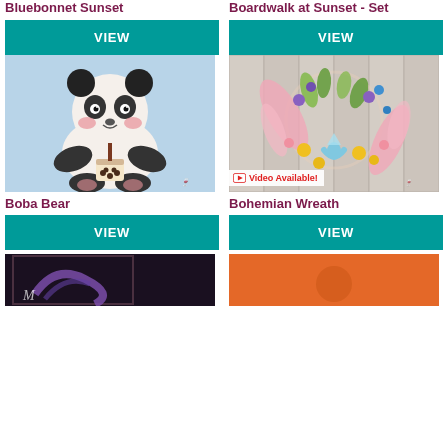Bluebonnet Sunset
Boardwalk at Sunset - Set
VIEW
VIEW
[Figure (illustration): Cartoon panda bear holding a boba tea drink, painted on light blue background]
[Figure (illustration): Bohemian floral wreath on wooden plank background with pink feathers and colorful flowers, with Video Available! badge]
Boba Bear
Bohemian Wreath
VIEW
VIEW
[Figure (illustration): Partial view of a dark painting with purple swirl and white signature]
[Figure (illustration): Partial view of a painting with orange background]